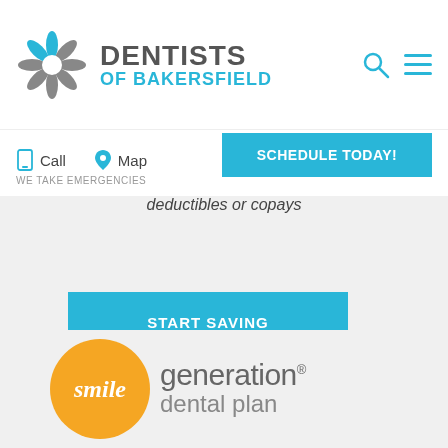[Figure (logo): Dentists of Bakersfield logo with starburst graphic and teal/gray text]
[Figure (logo): Search and hamburger menu icons in teal]
Call
Map
SCHEDULE TODAY!
WE TAKE EMERGENCIES
deductibles or copays
START SAVING
[Figure (logo): Smile Generation dental plan logo: orange circle with 'smile' in white italic text, followed by 'generation® dental plan' in gray]